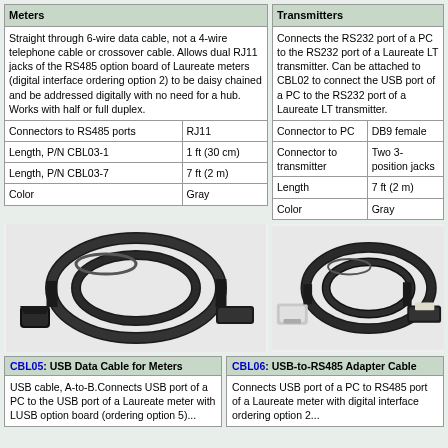| Meters |
| --- |
| Straight through 6-wire data cable, not a 4-wire telephone cable or crossover cable. Allows dual RJ11 jacks of the RS485 option board of Laureate meters (digital interface ordering option 2) to be daisy chained and be addressed digitally with no need for a hub. Works with half or full duplex. |
| Connectors to RS485 ports | RJ11 |
| Length, P/N CBL03-1 | 1 ft (30 cm) |
| Length, P/N CBL03-7 | 7 ft (2 m) |
| Color | Gray |
| Transmitters |
| --- |
| Connects the RS232 port of a PC to the RS232 port of a Laureate LT transmitter. Can be attached to CBL02 to connect the USB port of a PC to the RS232 port of a Laureate LT transmitter. |
| Connector to PC | DB9 female |
| Connector to transmitter | Two 3-position jacks |
| Length | 7 ft (2 m) |
| Color | Gray |
[Figure (photo): Black USB A-to-B cable coiled]
[Figure (photo): Black USB-to-RS485 cable with RJ11 connector]
CBL05: USB Data Cable for Meters
USB cable, A-to-B.Connects USB port of a PC to the USB port of a Laureate meter with LUSB option board (ordering option 5)...
CBL06: USB-to-RS485 Adapter Cable
Connects USB port of a PC to RS485 port of a Laureate meter with digital interface ordering option 2...